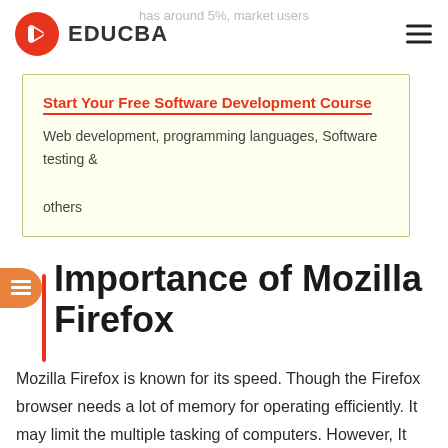EDUCBA
Start Your Free Software Development Course
Web development, programming languages, Software testing & others
Importance of Mozilla Firefox
Mozilla Firefox is known for its speed. Though the Firefox browser needs a lot of memory for operating efficiently. It may limit the multiple tasking of computers. However, It provides better network security. It has advanced security options that protect your system from